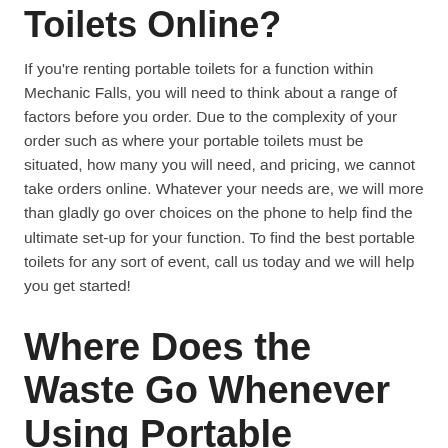Toilets Online?
If you're renting portable toilets for a function within Mechanic Falls, you will need to think about a range of factors before you order. Due to the complexity of your order such as where your portable toilets must be situated, how many you will need, and pricing, we cannot take orders online. Whatever your needs are, we will more than gladly go over choices on the phone to help find the ultimate set-up for your function. To find the best portable toilets for any sort of event, call us today and we will help you get started!
Where Does the Waste Go Whenever Using Portable Toilets?